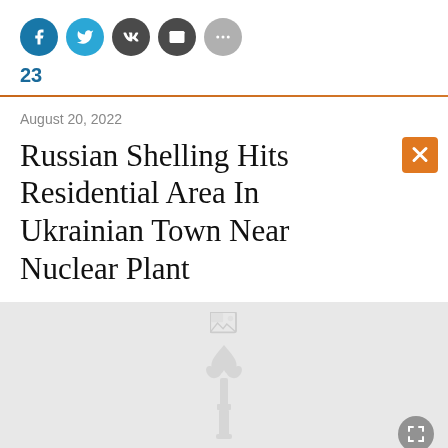[Figure (other): Social share buttons row: Facebook (blue), Twitter (blue), VK (dark), email (dark), more (gray), with share count 23]
23
August 20, 2022
Russian Shelling Hits Residential Area In Ukrainian Town Near Nuclear Plant
[Figure (photo): Loading image placeholder with broken image icon and RFE/RL watermark logo, gray background, expand button in bottom right corner]